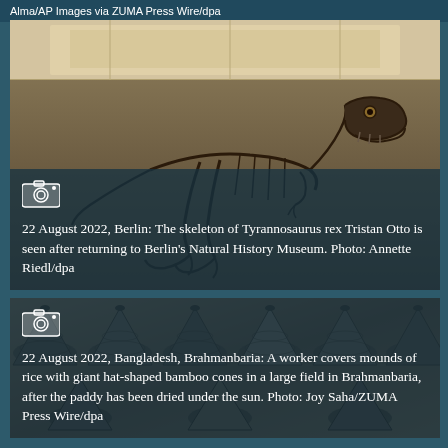Alma/AP Images via ZUMA Press Wire/dpa
[Figure (photo): Skeleton of Tyrannosaurus rex Tristan Otto displayed in Berlin's Natural History Museum, showing the dinosaur skeleton in a museum hall with ornate ceiling]
22 August 2022, Berlin: The skeleton of Tyrannosaurus rex Tristan Otto is seen after returning to Berlin's Natural History Museum. Photo: Annette Riedl/dpa
[Figure (photo): Worker covering mounds of rice with giant hat-shaped bamboo cones in a large field in Brahmanbaria, Bangladesh, showing multiple cone shapes arranged in rows]
22 August 2022, Bangladesh, Brahmanbaria: A worker covers mounds of rice with giant hat-shaped bamboo cones in a large field in Brahmanbaria, after the paddy has been dried under the sun. Photo: Joy Saha/ZUMA Press Wire/dpa